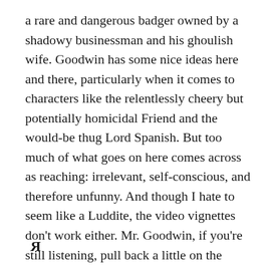a rare and dangerous badger owned by a shadowy businessman and his ghoulish wife. Goodwin has some nice ideas here and there, particularly when it comes to characters like the relentlessly cheery but potentially homicidal Friend and the would-be thug Lord Spanish. But too much of what goes on here comes across as reaching: irrelevant, self-conscious, and therefore unfunny. And though I hate to seem like a Luddite, the video vignettes don’t work either. Mr. Goodwin, if you’re still listening, pull back a little on the weirdness. Don’t force it; let it arise naturally from the material, then follow. Also, don’t direct your own scripts. They need outside eyes. Steely, if possible.
[Figure (logo): Reversed R logo mark (Toys R Us style reversed R symbol) in black]